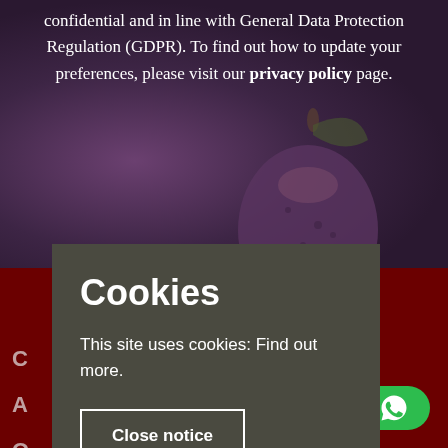confidential and in line with General Data Protection Regulation (GDPR). To find out how to update your preferences, please visit our privacy policy page.
[Figure (photo): Dark purple/mauve background photo of a fig or similar fruit, used as a decorative background behind text overlay]
Cookies
This site uses cookies: Find out more.
Close notice